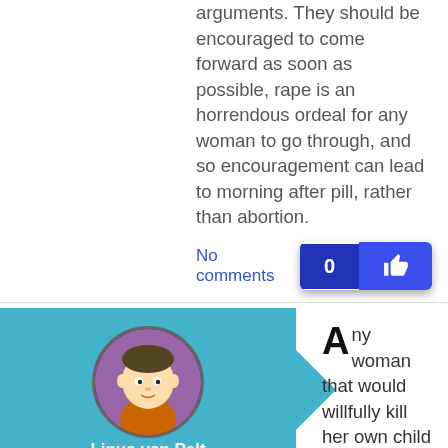arguments. They should be encouraged to come forward as soon as possible, rape is an horrendous ordeal for any woman to go through, and so encouragement can lead to morning after pill, rather than abortion.
No comments
[Figure (other): Vote button showing count 0 and thumbs up icon, blue background]
[Figure (illustration): Circular avatar of Linus van Pelt cartoon character on teal/blue background panel with username label]
Any woman that would willfully kill her own child is sick and in need of mental health. Any professional healthcare worker that would seek to destroy life instead of preserving it is a charlatan